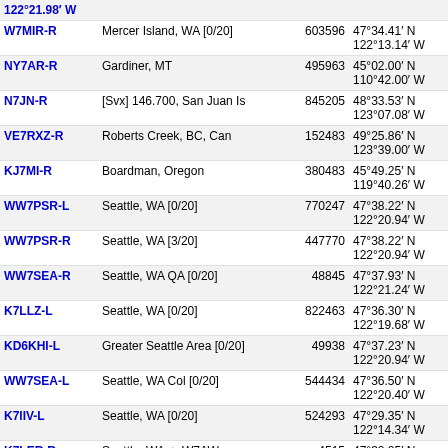| Callsign | Location | Node ID | Coordinates | Grid |
| --- | --- | --- | --- | --- |
| W7MIR-R | Mercer Island, WA [0/20] | 603596 | 47°34.41' N 122°13.14' W | CN87 |
| NY7AR-R | Gardiner, MT | 495963 | 45°02.00' N 110°42.00' W | DN45 |
| N7JN-R | [Svx] 146.700, San Juan Is | 845205 | 48°33.53' N 123°07.08' W | CN88 |
| VE7RXZ-R | Roberts Creek, BC, Can | 152483 | 49°25.86' N 123°39.00' W | CN89 |
| KJ7MI-R | Boardman, Oregon | 380483 | 45°49.25' N 119°40.26' W | DN05 |
| WW7PSR-L | Seattle, WA [0/20] | 770247 | 47°38.22' N 122°20.94' W | CN87 |
| WW7PSR-R | Seattle, WA [3/20] | 447770 | 47°38.22' N 122°20.94' W | CN87 |
| WW7SEA-R | Seattle, WA QA [0/20] | 48845 | 47°37.93' N 122°21.24' W | CN87 |
| K7LLZ-L | Seattle, WA [0/20] | 822463 | 47°36.30' N 122°19.68' W | CN87 |
| KD6KHI-L | Greater Seattle Area [0/20] | 49938 | 47°37.23' N 122°20.94' W | CN87 |
| WW7SEA-L | Seattle, WA Col [0/20] | 544434 | 47°36.50' N 122°20.40' W | CN87 |
| K7IIV-L | Seattle, WA [0/20] | 524293 | 47°29.35' N 122°14.34' W | CN87 |
| K7LER-R | Seattle, WA -> W7AW | 4515 | 47°32.25' N 122°22.38' W | CN87 |